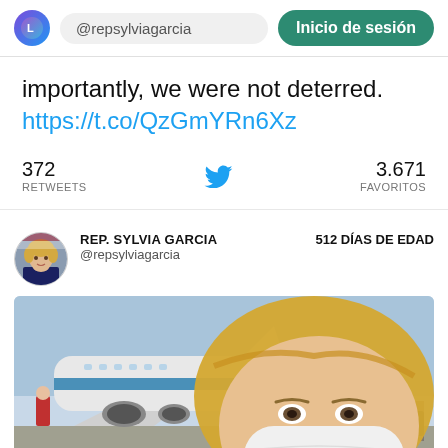@repsylviagarcia | Inicio de sesión
importantly, we were not deterred. https://t.co/QzGmYRn6Xz
372 RETWEETS   3.671 FAVORITOS
REP. SYLVIA GARCIA @repsylviagarcia   512 DÍAS DE EDAD
[Figure (screenshot): Video thumbnail showing a woman with a white face mask standing in front of a large airplane on a tarmac, with a blue sky. Video timestamp shows 0:00.]